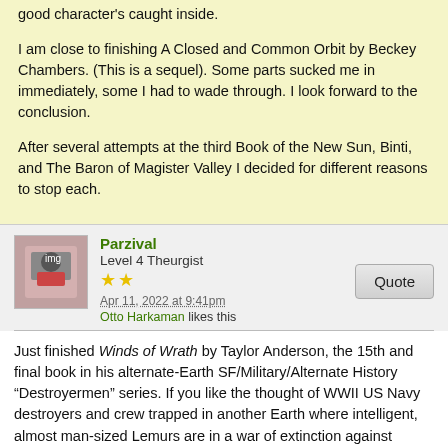good character's caught inside.
I am close to finishing A Closed and Common Orbit by Beckey Chambers. (This is a sequel). Some parts sucked me in immediately, some I had to wade through. I look forward to the conclusion.
After several attempts at the third Book of the New Sun, Binti, and The Baron of Magister Valley I decided for different reasons to stop each.
Parzival
Level 4 Theurgist
Apr 11, 2022 at 9:41pm
Otto Harkaman likes this
Just finished Winds of Wrath by Taylor Anderson, the 15th and final book in his alternate-Earth SF/Military/Alternate History “Destroyermen” series. If you like the thought of WWII US Navy destroyers and crew trapped in another Earth where intelligent, almost man-sized Lemurs are in a war of extinction against intelligent carnivorous dinosaurs, this series is for you.